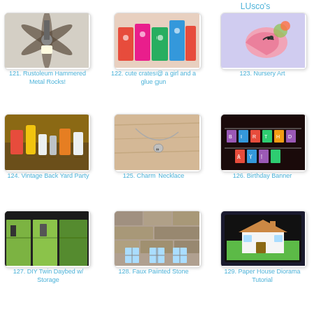LUsco's
[Figure (photo): Ceiling fan photo - item 121]
121. Rustoleum Hammered Metal Rocks!
[Figure (photo): Colorful crates with tulip decorations - item 122]
122. cute crates@ a girl and a glue gun
[Figure (photo): Nursery art with flowers and bird - item 123]
123. Nursery Art
[Figure (photo): Vintage back yard party supplies on table - item 124]
124. Vintage Back Yard Party
[Figure (photo): Charm necklace on light wood background - item 125]
125. Charm Necklace
[Figure (photo): Birthday banner decoration - item 126]
126. Birthday Banner
[Figure (photo): DIY twin daybed with storage cabinets - item 127]
127. DIY Twin Daybed w/ Storage
[Figure (photo): Faux painted stone exterior of house - item 128]
128. Faux Painted Stone
[Figure (photo): Paper house diorama tutorial - item 129]
129. Paper House Diorama Tutorial